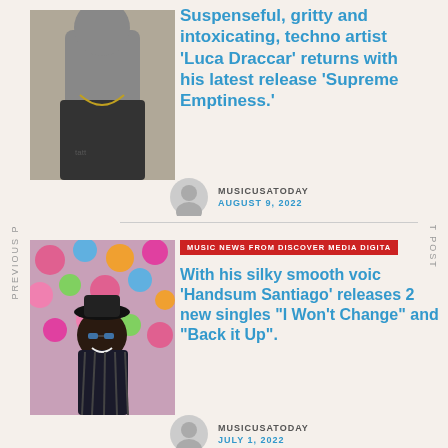Suspenseful, gritty and intoxicating, techno artist 'Luca Draccar' returns with his latest release 'Supreme Emptiness.'
[Figure (photo): Photo of Luca Draccar, a man with tattoos wearing a black tank top and a necklace]
MUSICUSATODAY
AUGUST 9, 2022
[Figure (photo): Photo of Handsum Santiago, a man in a striped jacket and hat smiling among colorful flowers]
MUSIC NEWS FROM DISCOVER MEDIA DIGITAL
With his silky smooth voice, 'Handsum Santiago' releases 2 new singles "I Won't Change" and "Back it Up".
MUSICUSATODAY
JULY 1, 2022